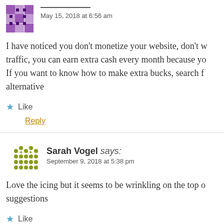May 15, 2018 at 6:56 am
I have noticed you don't monetize your website, don't waste your traffic, you can earn extra cash every month because you have high quality traffic. If you want to know how to make extra bucks, search for: Mertiso's tips best adsense alternative
Like
Reply
Sarah Vogel says:
September 9, 2018 at 5:38 pm
Love the icing but it seems to be wrinkling on the top of my cake any suggestions
Like
Reply